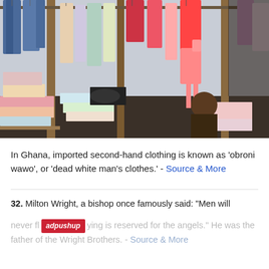[Figure (photo): A market stall in Ghana showing secondhand clothing items hanging on racks and poles, including jeans, baby onesies, and colorful garments. Folded clothes are piled below. A person is partially visible in the background.]
In Ghana, imported second-hand clothing is known as 'obroni wawo', or 'dead white man's clothes.' - Source & More
32. Milton Wright, a bishop once famously said: "Men will never fly because flying is reserved for the angels." He was the father of the Wright Brothers. - Source & More